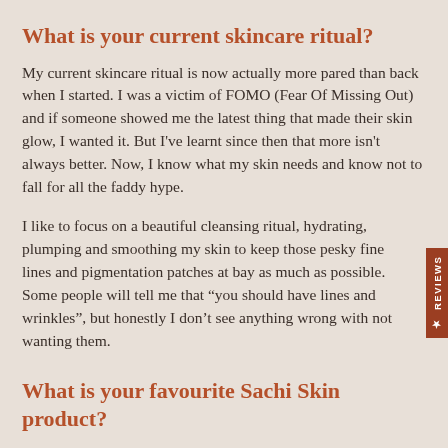What is your current skincare ritual?
My current skincare ritual is now actually more pared than back when I started. I was a victim of FOMO (Fear Of Missing Out) and if someone showed me the latest thing that made their skin glow, I wanted it. But I've learnt since then that more isn't always better. Now, I know what my skin needs and know not to fall for all the faddy hype.
I like to focus on a beautiful cleansing ritual, hydrating, plumping and smoothing my skin to keep those pesky fine lines and pigmentation patches at bay as much as possible. Some people will tell me that “you should have lines and wrinkles”, but honestly I don’t see anything wrong with not wanting them.
What is your favourite Sachi Skin product?